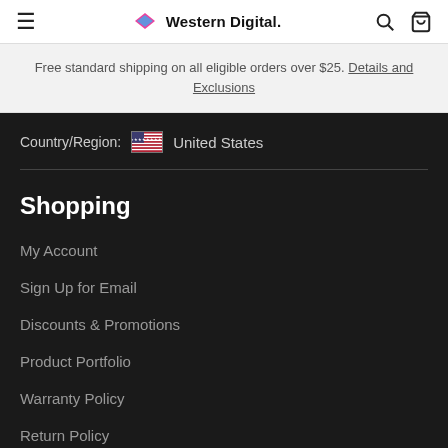Western Digital
Free standard shipping on all eligible orders over $25. Details and Exclusions
Country/Region: United States
Shopping
My Account
Sign Up for Email
Discounts & Promotions
Product Portfolio
Warranty Policy
Return Policy